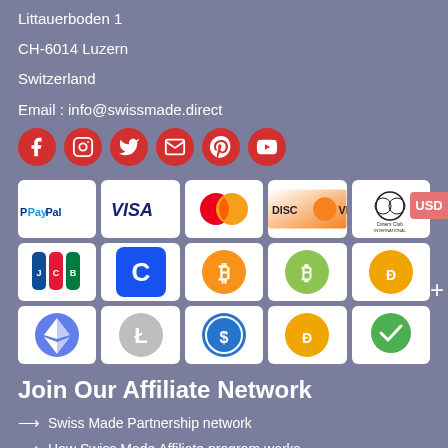SWISSMADE Trading Ltd.
Littauerboden 1
CH-6014 Luzern
Switzerland
Email : info@swissmade.direct
[Figure (infographic): Row of 6 red circular social media icons: Facebook, Instagram, Twitter, Email/envelope, Pinterest, YouTube]
[Figure (infographic): 3x5 grid of payment method logos: PayPal, Visa, MasterCard, Discover, Diners Club International, JCB, Coinbase (C), Bitcoin (orange), Bitcoin Cash (green), Dash, Ethereum, Litecoin, USD Coin, Dash (yellow), green checkmark chat bubble]
Join Our Affiliate Network
Swiss Made Partnership network
How Swiss Made Affiliate program works